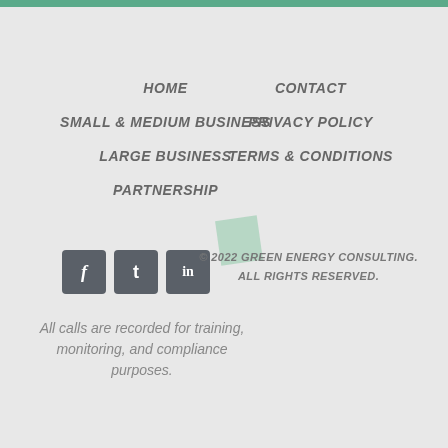HOME
SMALL & MEDIUM BUSINESS
LARGE BUSINESS
PARTNERSHIP
CONTACT
PRIVACY POLICY
TERMS & CONDITIONS
[Figure (logo): Social media icons: Facebook (f), Twitter (t), LinkedIn (in) — dark grey rounded square buttons]
© 2022 GREEN ENERGY CONSULTING. ALL RIGHTS RESERVED.
All calls are recorded for training, monitoring, and compliance purposes.